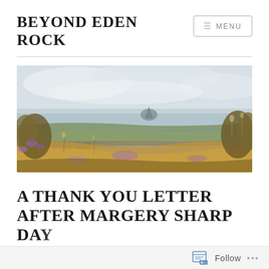BEYOND EDEN ROCK
[Figure (illustration): Panoramic landscape painting showing a coastal scene with wildflowers and heath in the foreground, a distant rocky island or mount in the middle distance, and a pale overcast sky. Warm ochre and purple tones in the foreground vegetation, green and grey tones in the mid-ground, misty blue-grey sea and sky.]
A THANK YOU LETTER AFTER MARGERY SHARP DAY